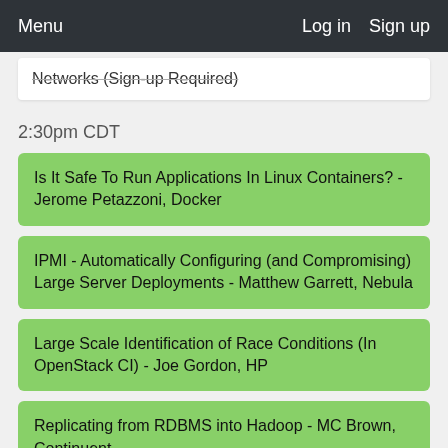Menu  Log in  Sign up
Networks (Sign-up Required)
2:30pm CDT
Is It Safe To Run Applications In Linux Containers? - Jerome Petazzoni, Docker
IPMI - Automatically Configuring (and Compromising) Large Server Deployments - Matthew Garrett, Nebula
Large Scale Identification of Race Conditions (In OpenStack CI) - Joe Gordon, HP
Replicating from RDBMS into Hadoop - MC Brown, Continuent
OpenStack Neutron: Updates and Deployment